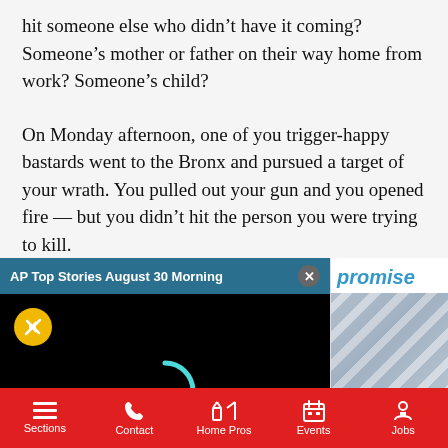hit someone else who didn't have it coming? Someone's mother or father on their way home from work? Someone's child?
On Monday afternoon, one of you trigger-happy bastards went to the Bronx and pursued a target of your wrath. You pulled out your gun and you opened fire — but you didn't hit the person you were trying to kill.
[Figure (screenshot): Video player overlay titled 'AP Top Stories August 30 Morning' with a black background, a yellow mute button icon, a teal loading spinner, and a close button on the header.]
[Figure (screenshot): Partial side advertisement with teal italic text 'promise' and a partially visible photo of a person in a striped shirt.]
Sections   Contact   Home Pros   Events   Jobs